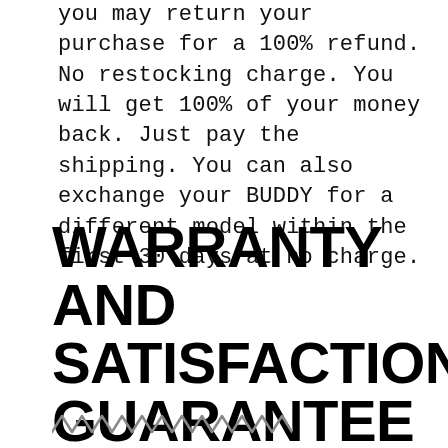you may return your purchase for a 100% refund. No restocking charge. You will get 100% of your money back. Just pay the shipping. You can also exchange your BUDDY for a different model within the first 30 days at no charge.
WARRANTY AND SATISFACTION GUARANTEE
[Figure (illustration): Decorative squiggle/wave line border at the bottom of the page]